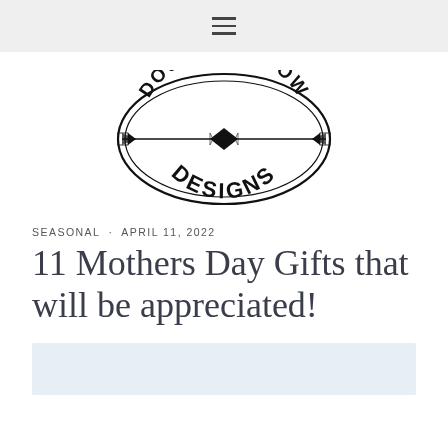≡ (hamburger menu icon)
[Figure (logo): Double Arrow Designs logo — oval border with two arrows pointing inward, text 'DOUBLE ARROW' arched on top and 'DESIGNS' on bottom]
SEASONAL · APRIL 11, 2022
11 Mothers Day Gifts that will be appreciated!